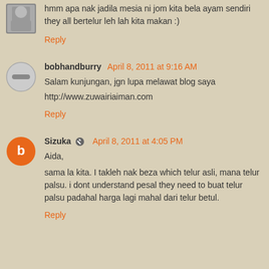hmm apa nak jadila mesia ni jom kita bela ayam sendiri they all bertelur leh lah kita makan :)
Reply
bobhandburry April 8, 2011 at 9:16 AM
Salam kunjungan, jgn lupa melawat blog saya

http://www.zuwairiaiman.com
Reply
Sizuka April 8, 2011 at 4:05 PM
Aida,

sama la kita. I takleh nak beza which telur asli, mana telur palsu. i dont understand pesal they need to buat telur palsu padahal harga lagi mahal dari telur betul.
Reply